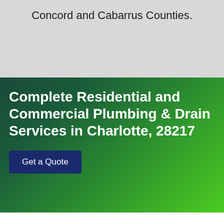Concord and Cabarrus Counties.
Complete Residential and Commercial Plumbing & Drain Services in Charlotte, 28217
Get a Quote
[Figure (logo): BBB Accredited Business logo]
[Figure (logo): IICRC Certified logo]
[Figure (logo): RIA logo]
Call Us Now: ☎ (704) 318-2681